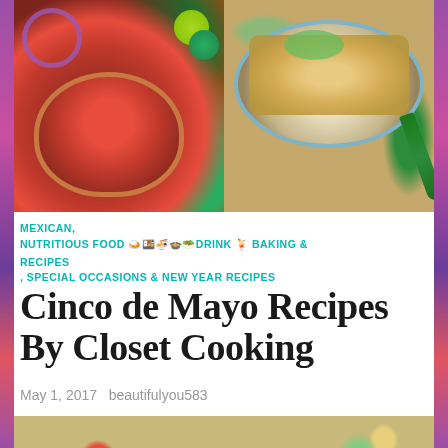[Figure (photo): Two-panel food photo collage: left panel shows a bowl of red salsa/pico de gallo with vegetables; right panel shows a plate with tacos/burritos and a jalapeño]
MEXICAN,
NUTRITIOUS FOOD 🍛🍱🍜🍲🥗DRINK 🍹 BAKING & RECIPES
, SPECIAL OCCASIONS & NEW YEAR RECIPES
Cinco de Mayo Recipes By Closet Cooking
May 1, 2017   beautifulyou583
[Figure (photo): Bottom photo showing food items including tomatoes, lime wedges, and text overlay reading CINCO]